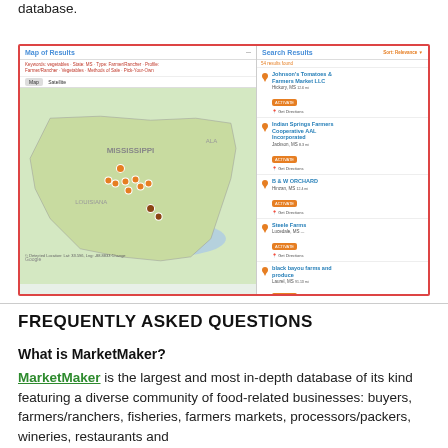database.
[Figure (screenshot): Screenshot of MarketMaker website showing a map of results on the left with markers across Mississippi and surrounding states, and a search results panel on the right listing farmers/ranchers including Johnson's Tomatoes & Farmers Market LLC, Indian Springs Farmers Cooperative AAL Incorporated, B & W Orchard, Steele Farms, black bayou farms and produce, Two Dog Farms, Cooper Farms and Vineyard, Collard Ridge Produce.]
FREQUENTLY ASKED QUESTIONS
What is MarketMaker?
MarketMaker is the largest and most in-depth database of its kind featuring a diverse community of food-related businesses: buyers, farmers/ranchers, fisheries, farmers markets, processors/packers, wineries, restaurants and